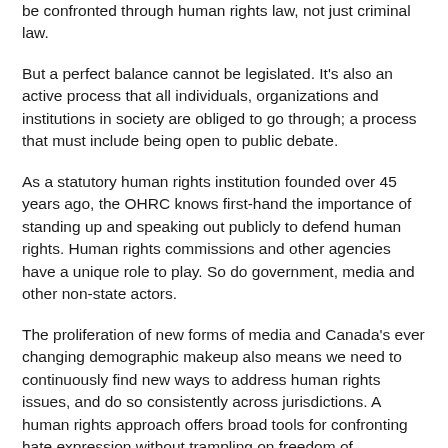be confronted through human rights law, not just criminal law.
But a perfect balance cannot be legislated. It's also an active process that all individuals, organizations and institutions in society are obliged to go through; a process that must include being open to public debate.
As a statutory human rights institution founded over 45 years ago, the OHRC knows first-hand the importance of standing up and speaking out publicly to defend human rights. Human rights commissions and other agencies have a unique role to play. So do government, media and other non-state actors.
The proliferation of new forms of media and Canada's ever changing demographic makeup also means we need to continuously find new ways to address human rights issues, and do so consistently across jurisdictions. A human rights approach offers broad tools for confronting hate expression without trampling on freedom of expression.
This understanding of balancing rights and freedoms is in keeping with Canada's domestic and international legal obligations.
Human rights and criminal law enforcement
Professor Moon's first recommendation is that a ban on expression